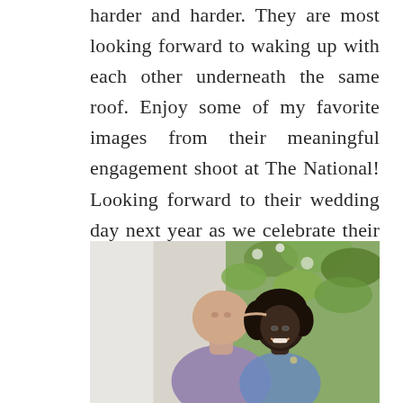harder and harder. They are most looking forward to waking up with each other underneath the same roof. Enjoy some of my favorite images from their meaningful engagement shoot at The National! Looking forward to their wedding day next year as we celebrate their perfect unity.
[Figure (photo): A couple in an engagement photo: a bald man kissing a smiling woman on the cheek or forehead, with greenery in the background.]